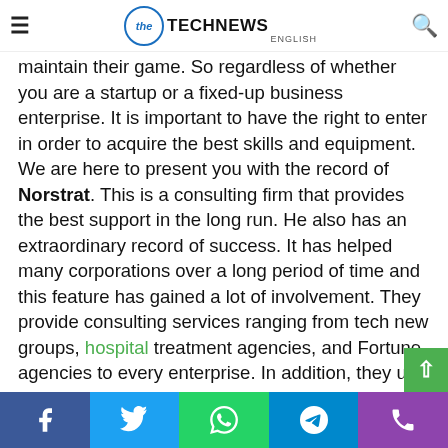THE TECHNEWS ENGLISH
Welcome to another data communication era. Many data organizations are constantly being tested to maintain their game. So regardless of whether you are a startup or a fixed-up business enterprise. It is important to have the right to enter in order to acquire the best skills and equipment. We are here to present you with the record of Norstrat. This is a consulting firm that provides the best support in the long run. He also has an extraordinary record of success. It has helped many corporations over a long period of time and this feature has gained a lot of involvement. They provide consulting services ranging from tech new groups, hospital treatment agencies, and Fortune agencies to every enterprise. In addition, they use innovative strategies and methods that help your enterprise stand out from the competition with unequal support and results.
Social share bar: Facebook, Twitter, WhatsApp, Telegram, Phone